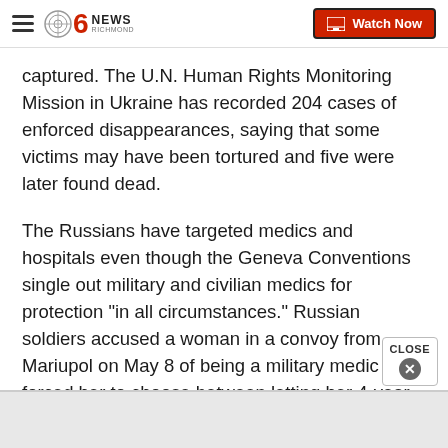CBS 6 News Richmond — Watch Now
captured. The U.N. Human Rights Monitoring Mission in Ukraine has recorded 204 cases of enforced disappearances, saying that some victims may have been tortured and five were later found dead.
The Russians have targeted medics and hospitals even though the Geneva Conventions single out military and civilian medics for protection "in all circumstances." Russian soldiers accused a woman in a convoy from Mariupol on May 8 of being a military medic and forced her to choose between letting her 4-year-old daughter accompany her to an unknown fate or